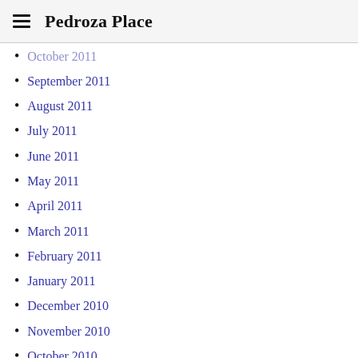Pedroza Place
October 2011
September 2011
August 2011
July 2011
June 2011
May 2011
April 2011
March 2011
February 2011
January 2011
December 2010
November 2010
October 2010
September 2010
August 2010
July 2010
June 2010
May 2010
April 2010